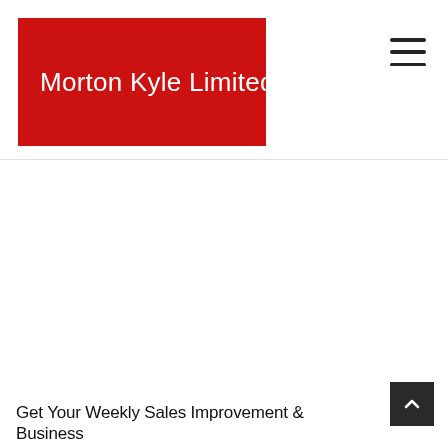Morton Kyle Limited
Get Your Weekly Sales Improvement & Business